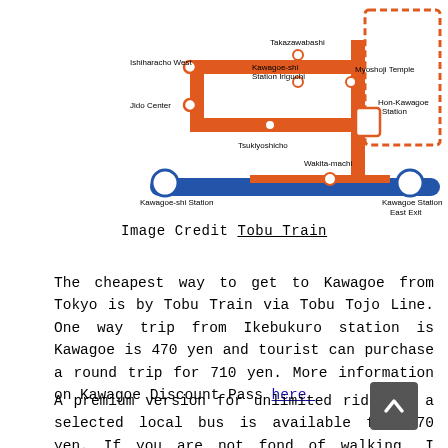[Figure (map): Transit map of Kawagoe bus/train routes showing stations including Ishiharacho West, Jido Center, Takazawabashi, Kawagoe-shi Station Iriguchi, Myoshoji Temple, Hon-Kawagoe Station, Tsukiyoshicho, Wakita-machi, Kawagoe-shi Station, Kawagoe Station East Exit, with orange and blue route lines.]
Image Credit Tobu Train
The cheapest way to get to Kawagoe from Tokyo is by Tobu Train via Tobu Tojo Line. One way trip from Ikebukuro station is Kawagoe is 470 yen and tourist can purchase a round trip for 710 yen. More information on Kawagoe Discount Pass here
A premium version for unlimited rides on a selected local bus is available for 970 yen. If you are not fond of walking, I highly recommend you to purchase the premium version as the attractions are not located